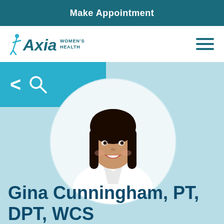Make Appointment
[Figure (logo): Axia Women's Health logo with stylized figure icon and text]
[Figure (other): Hamburger menu icon (three horizontal lines)]
[Figure (other): Back arrow and search icon on teal background]
[Figure (photo): Circular headshot photo of Gina Cunningham, a woman with long dark hair wearing a white coat, smiling]
Gina Cunningham, PT, DPT, WCS